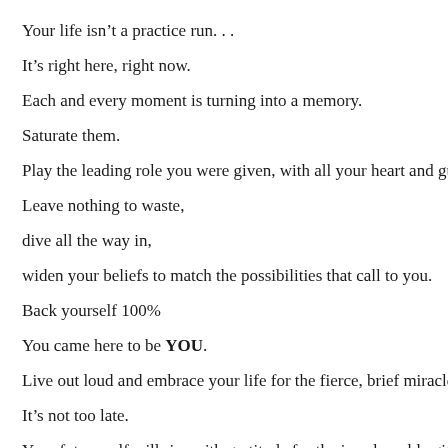Your life isn't a practice run. . .
It's right here, right now.
Each and every moment is turning into a memory.
Saturate them.
Play the leading role you were given, with all your heart and gu…
Leave nothing to waste,
dive all the way in,
widen your beliefs to match the possibilities that call to you.
Back yourself 100%
You came here to be YOU.
Live out loud and embrace your life for the fierce, brief miracle…
It's not too late.
Your future self will rise with gratitude for the irreplaceable gif…